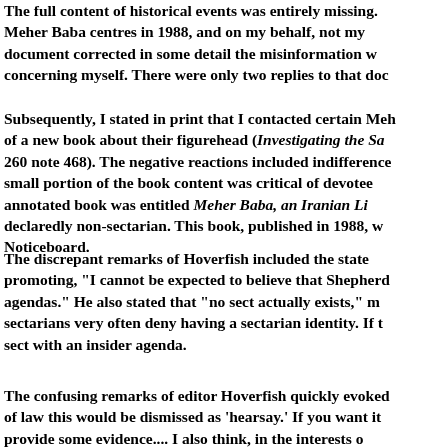The full content of historical events was entirely missing. Meher Baba centres in 1988, and on my behalf, not my document corrected in some detail the misinformation w concerning myself. There were only two replies to that doc
Subsequently, I stated in print that I contacted certain Meh of a new book about their figurehead (Investigating the Sa 260 note 468). The negative reactions included indifference small portion of the book content was critical of devotee annotated book was entitled Meher Baba, an Iranian Li declaredly non-sectarian. This book, published in 1988, w Noticeboard.
The discrepant remarks of Hoverfish included the state promoting, "I cannot be expected to believe that Shepherd agendas." He also stated that "no sect actually exists," m sectarians very often deny having a sectarian identity. If t sect with an insider agenda.
The confusing remarks of editor Hoverfish quickly evoked of law this would be dismissed as 'hearsay.' If you want it provide some evidence.... I also think, in the interests o particular interest in Meher Baba. On this page [linked